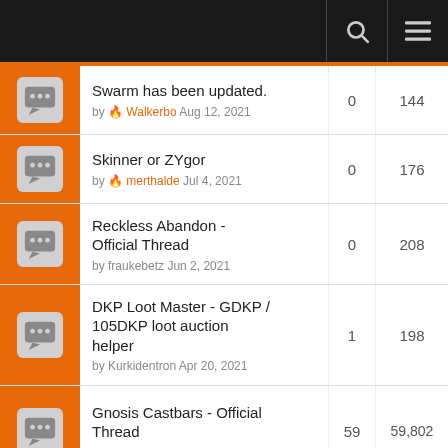Forum thread list with search and menu icons
Swarm has been updated. by Walkerbo Aug 12, 2021 | Replies: 0 | Views: 144
Skinner or ZYgor by merthalde Jul 4, 2021 | Replies: 0 | Views: 176
Reckless Abandon - Official Thread by fraukebetz Jun 2, 2021 | Replies: 0 | Views: 208
DKP Loot Master - GDKP / 105DKP loot auction helper by Kurkidentron Apr 20, 2021 | Replies: 1 | Views: 198
Gnosis Castbars - Official Thread by elchefe12345 Feb 1, 2011 | Replies: 59 | Views: 59,802
PallyPower Error 95 by Arrolo May 5, 2021 | Replies: 3 | Views: 213